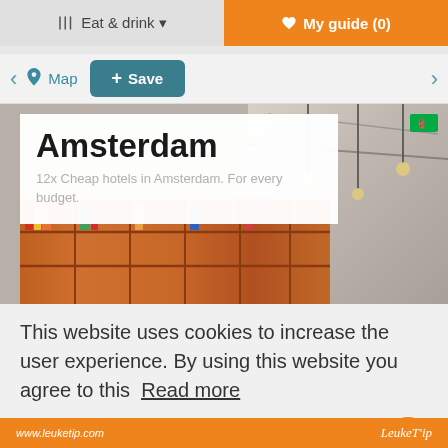Eat & drink  ♥ My guide (0)
< Map + Save >
[Figure (photo): Amsterdam hotel interior with bookshelf and industrial ceiling, overlay text reading 'Amsterdam' and '12x Cheap hotels in Amsterdam. For every budget.']
Amsterdam
12x Cheap hotels in Amsterdam. For every budget.
This website uses cookies to increase the user experience. By using this website you agree to this  Read more
Close
www.leuketip.com   LeukeT'ip